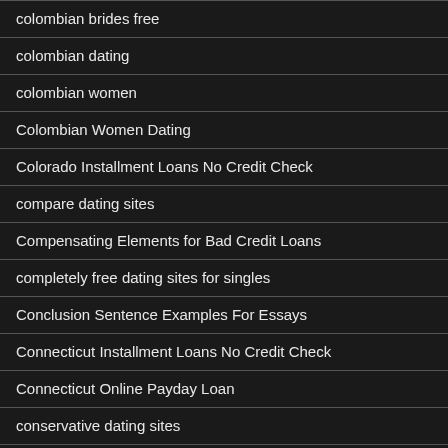colombian brides free
colombian dating
colombian women
Colombian Women Dating
Colorado Installment Loans No Credit Check
compare dating sites
Compensating Elements for Bad Credit Loans
completely free dating sites for singles
Conclusion Sentence Examples For Essays
Connecticut Installment Loans No Credit Check
Connecticut Online Payday Loan
conservative dating sites